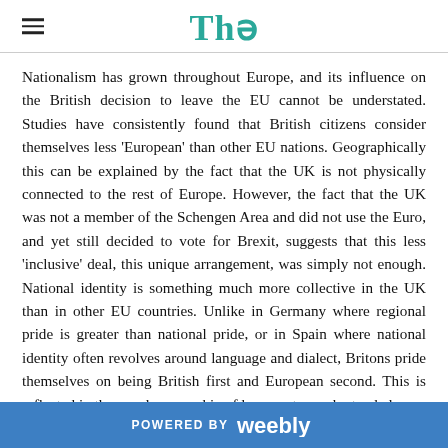Thə
Nationalism has grown throughout Europe, and its influence on the British decision to leave the EU cannot be understated. Studies have consistently found that British citizens consider themselves less 'European' than other EU nations. Geographically this can be explained by the fact that the UK is not physically connected to the rest of Europe. However, the fact that the UK was not a member of the Schengen Area and did not use the Euro, and yet still decided to vote for Brexit, suggests that this less 'inclusive' deal, this unique arrangement, was simply not enough. National identity is something much more collective in the UK than in other EU countries. Unlike in Germany where regional pride is greater than national pride, or in Spain where national identity often revolves around language and dialect, Britons pride themselves on being British first and European second. This is reflected in the age demographic of leave voters, who tended
POWERED BY weebly